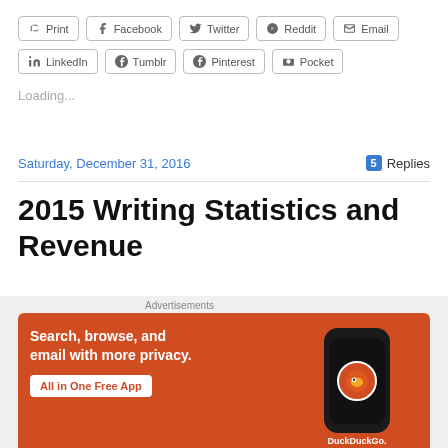Print
Facebook
Twitter
Reddit
Email
LinkedIn
Tumblr
Pinterest
Pocket
Loading...
Saturday, December 31, 2016
5 Replies
2015 Writing Statistics and Revenue
[Figure (infographic): DuckDuckGo advertisement banner: orange background with text 'Search, browse, and email with more privacy. All in One Free App' and a phone graphic showing DuckDuckGo logo]